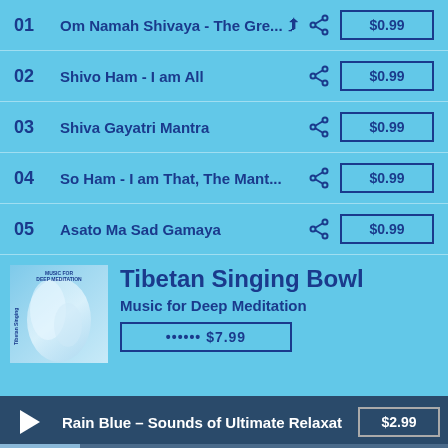01  Om Namah Shivaya - The Gre...  $0.99
02  Shivo Ham - I am All  $0.99
03  Shiva Gayatri Mantra  $0.99
04  So Ham - I am That, The Mant...  $0.99
05  Asato Ma Sad Gamaya  $0.99
[Figure (photo): Album cover for Tibetan Singing Bowl - Music for Deep Meditation, showing a blurred white and blue ethereal image with text labels]
Tibetan Singing Bowl
Music for Deep Meditation
Rain Blue – Sounds of Ultimate Relaxat  $2.99